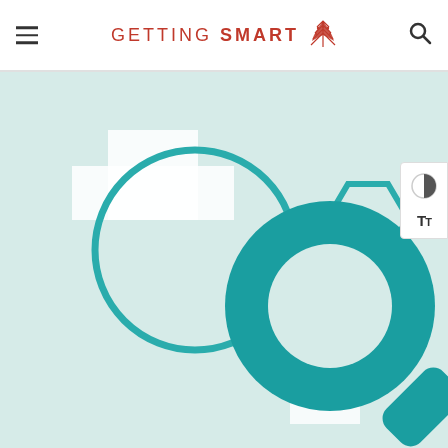Getting Smart
[Figure (illustration): Getting Smart website screenshot showing a magnifying glass illustration on a light teal/mint background with geometric shapes (circle outline, white cross/plus shapes, teal hexagon outline). The main focal point is a large teal magnifying glass icon. An accessibility panel with contrast and font size icons is visible on the right edge.]